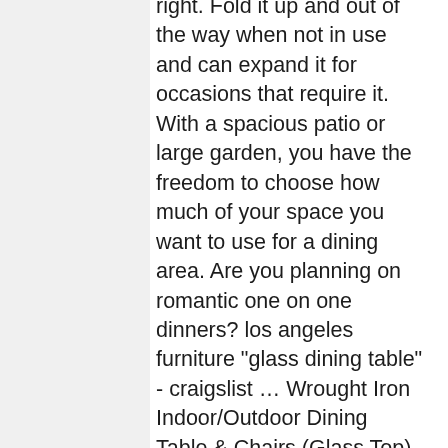right. Fold it up and out of the way when not in use and can expand it for occasions that require it. With a spacious patio or large garden, you have the freedom to choose how much of your space you want to use for a dining area. Are you planning on romantic one on one dinners? los angeles furniture "glass dining table" - craigslist ... Wrought Iron Indoor/Outdoor Dining Table & Chairs (Glass Top) $225 pic hide this posting restore restore this posting. $300. Jun 3, 2020 - There's never a bad time to start